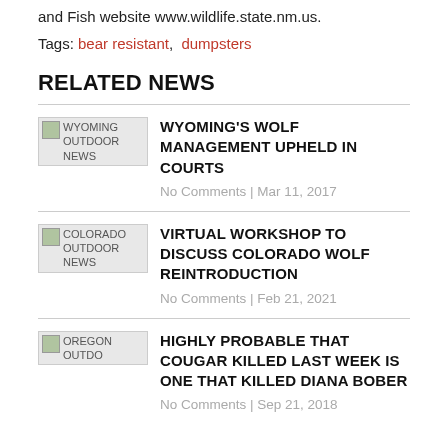and Fish website www.wildlife.state.nm.us.
Tags: bear resistant, dumpsters
RELATED NEWS
WYOMING'S WOLF MANAGEMENT UPHELD IN COURTS — No Comments | Mar 11, 2017
VIRTUAL WORKSHOP TO DISCUSS COLORADO WOLF REINTRODUCTION — No Comments | Feb 21, 2021
HIGHLY PROBABLE THAT COUGAR KILLED LAST WEEK IS ONE THAT KILLED DIANA BOBER — No Comments | Sep 21, 2018